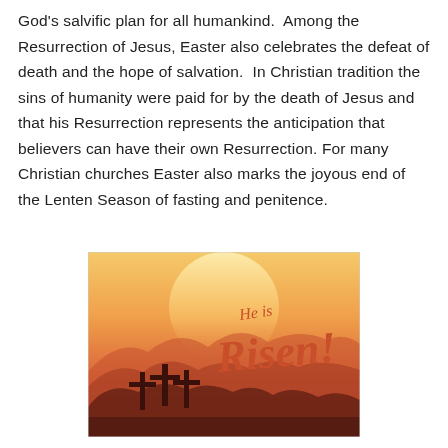God's salvific plan for all humankind.  Among the Resurrection of Jesus, Easter also celebrates the defeat of death and the hope of salvation.  In Christian tradition the sins of humanity were paid for by the death of Jesus and that his Resurrection represents the anticipation that believers can have their own Resurrection. For many Christian churches Easter also marks the joyous end of the Lenten Season of fasting and penitence.
[Figure (illustration): An illustrated Easter image with an orange/red sunset gradient sky over silhouetted mountains. Three crosses stand on a hill on the left side. Decorative script text reads 'He is Risen!' in coral/orange hand-lettering.]